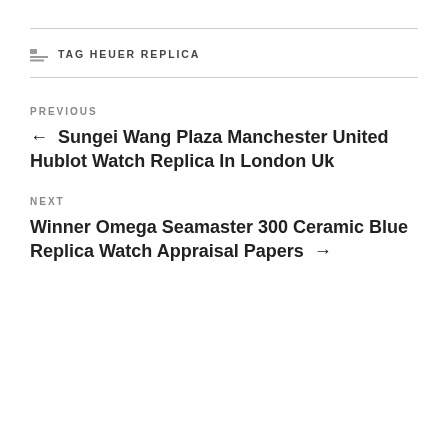TAG HEUER REPLICA
PREVIOUS
← Sungei Wang Plaza Manchester United Hublot Watch Replica In London Uk
NEXT
Winner Omega Seamaster 300 Ceramic Blue Replica Watch Appraisal Papers →